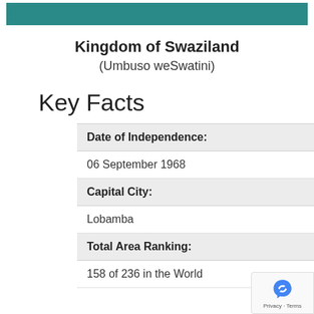[Figure (other): Teal/dark cyan horizontal banner bar at top of page]
Kingdom of Swaziland
(Umbuso weSwatini)
Key Facts
| Date of Independence: |  |
| 06 September 1968 |  |
| Capital City: |  |
| Lobamba |  |
| Total Area Ranking: |  |
| 158 of 236 in the World |  |